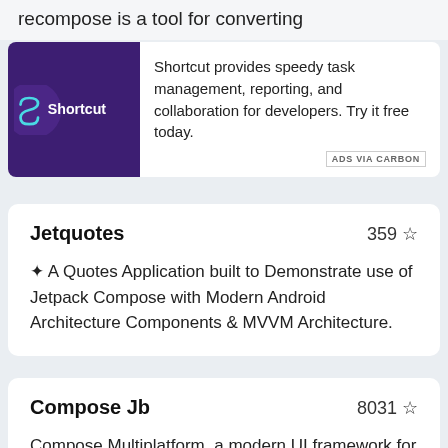recompose is a tool for converting
[Figure (logo): Shortcut logo — white S icon and Shortcut wordmark on purple background]
Shortcut provides speedy task management, reporting, and collaboration for developers. Try it free today.
ADS VIA CARBON
Jetquotes
359 ☆
✦ A Quotes Application built to Demonstrate use of Jetpack Compose with Modern Android Architecture Components & MVVM Architecture.
Compose Jb
8031 ☆
Compose Multiplatform, a modern UI framework for Kotlin that makes building performant and beautiful user interfaces easy and enjoyable.